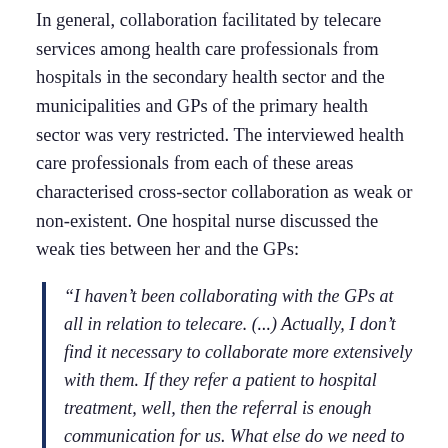In general, collaboration facilitated by telecare services among health care professionals from hospitals in the secondary health sector and the municipalities and GPs of the primary health sector was very restricted. The interviewed health care professionals from each of these areas characterised cross-sector collaboration as weak or non-existent. One hospital nurse discussed the weak ties between her and the GPs:
“I haven’t been collaborating with the GPs at all in relation to telecare. (...) Actually, I don’t find it necessary to collaborate more extensively with them. If they refer a patient to hospital treatment, well, then the referral is enough communication for us. What else do we need to collaborate about? So, our collaboration with the GPs can be characterised as